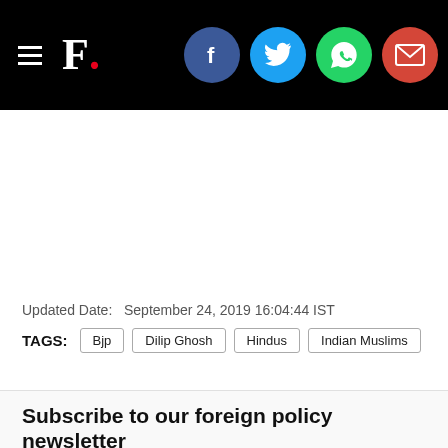F. [Firstpost logo with social share icons: Facebook, Twitter, WhatsApp, Email]
Updated Date:   September 24, 2019 16:04:44 IST
TAGS:  Bjp  Dilip Ghosh  Hindus  Indian Muslims
Subscribe to our foreign policy newsletter
Sign up for a weekly curated briefing of the most important strategic